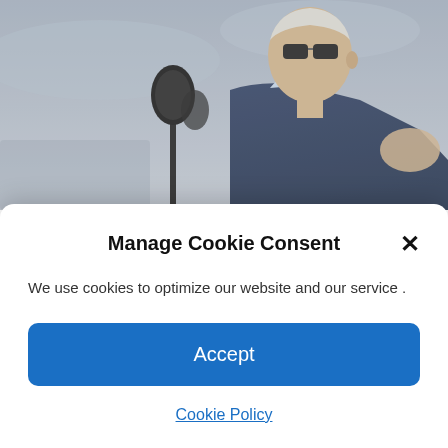[Figure (photo): Photo of an older man in a dark suit speaking at a microphone outdoors, with a gray sky background]
Biden signs bill boosting US chip manufacturing as he begins victory lap
Manage Cookie Consent
We use cookies to optimize our website and our service .
Accept
Cookie Policy